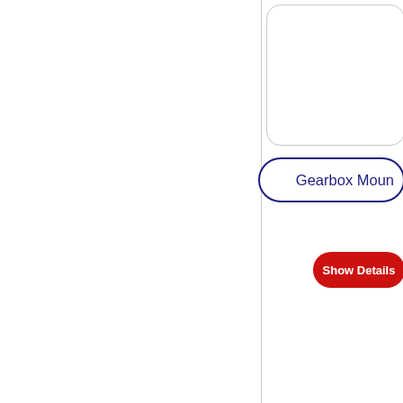[Figure (screenshot): Partial UI screenshot showing a vertical divider line on the left, a rounded rectangle box at the top right, a dark blue rounded pill label reading 'Gearbox Moun[t]', a red rounded button reading 'Show Details', a red rounded pill label reading 'PRODUCT CODE  76[...]', and a large rounded rectangle box at the bottom right.]
Gearbox Moun
Show Details
PRODUCT CODE  76